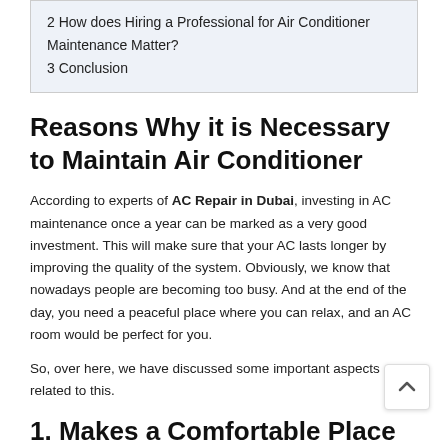2 How does Hiring a Professional for Air Conditioner Maintenance Matter?
3 Conclusion
Reasons Why it is Necessary to Maintain Air Conditioner
According to experts of AC Repair in Dubai, investing in AC maintenance once a year can be marked as a very good investment. This will make sure that your AC lasts longer by improving the quality of the system. Obviously, we know that nowadays people are becoming too busy. And at the end of the day, you need a peaceful place where you can relax, and an AC room would be perfect for you.
So, over here, we have discussed some important aspects related to this.
1.  Makes a Comfortable Place for